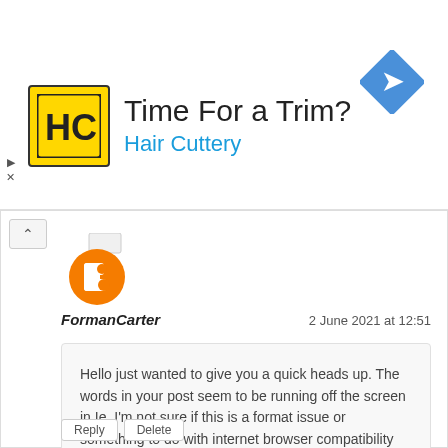[Figure (infographic): Advertisement banner for Hair Cuttery showing logo, tagline 'Time For a Trim?', brand name 'Hair Cuttery', and a blue navigation arrow icon on the right.]
[Figure (logo): Blogger orange circle logo with B icon]
FormanCarter
2 June 2021 at 12:51
Hello just wanted to give you a quick heads up. The words in your post seem to be running off the screen in Ie. I'm not sure if this is a format issue or something to do with internet browser compatibility but I figured I'd post to let you know. The design look great though! Hope you get the issue resolved soon. Many thanks plantar fasciitis
Reply
Delete